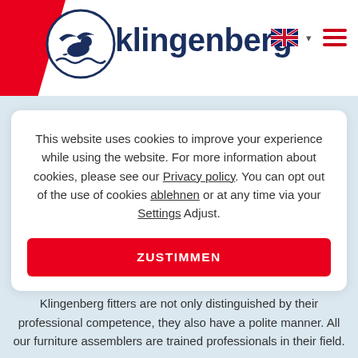Klingenberg
This website uses cookies to improve your experience while using the website. For more information about cookies, please see our Privacy policy. You can opt out of the use of cookies ablehnen or at any time via your Settings Adjust.
ZUSTIMMEN
Klingenberg fitters are not only distinguished by their professional competence, they also have a polite manner. All our furniture assemblers are trained professionals in their field.